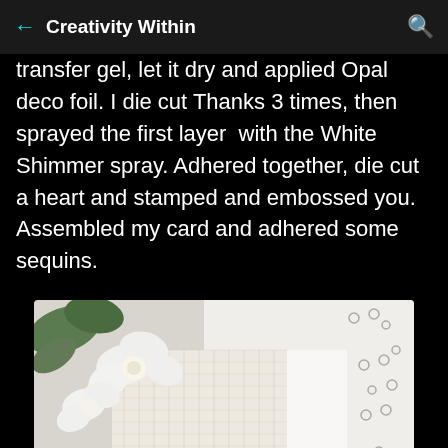Creativity Within
transfer gel, let it dry and applied Opal deco foil. I die cut Thanks 3 times, then sprayed the first layer with the White Shimmer spray. Adhered together, die cut a heart and stamped and embossed you. Assembled my card and adhered some sequins.
[Figure (photo): A handmade thank you card with a striped geometric pattern, white flowers (ranunculus) in the background, script 'thank' die cut word on the card front, and scattered sequins visible on the right side. Card is photographed on a white surface.]